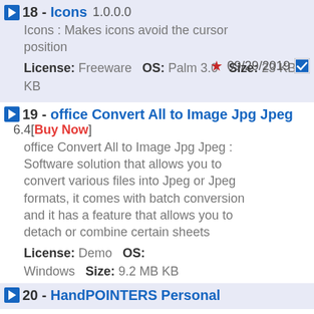18 - Icons 1.0.0.0
Icons : Makes icons avoid the cursor position
License: Freeware  OS: Palm 3.0  Size: 23 KB KB
Date: 09/29/2019
19 - office Convert All to Image Jpg Jpeg 6.4 [Buy Now]
office Convert All to Image Jpg Jpeg : Software solution that allows you to convert various files into Jpeg or Jpeg formats, it comes with batch conversion and it has a feature that allows you to detach or combine certain sheets
License: Demo  OS: Windows  Size: 9.2 MB KB
Date: 7/22/2019
20 - HandPOINTERS Personal